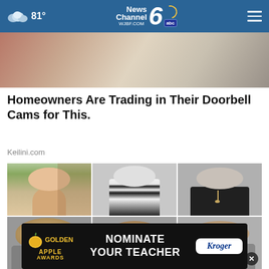81° — News Channel 6 WJBF.COM abc
[Figure (photo): Close-up photo of fabric/skin texture in muted pink and beige tones]
Homeowners Are Trading in Their Doorbell Cams for This.
Keilini.com
[Figure (photo): Grid of six yearbook-style portrait photos: top row shows girl in green sweater, man in tuxedo, woman in dark sweater with pendant; bottom row shows three black-and-white portraits of young people]
[Figure (infographic): Golden Apple Awards advertisement banner: NOMINATE YOUR TEACHER with Kroger logo]